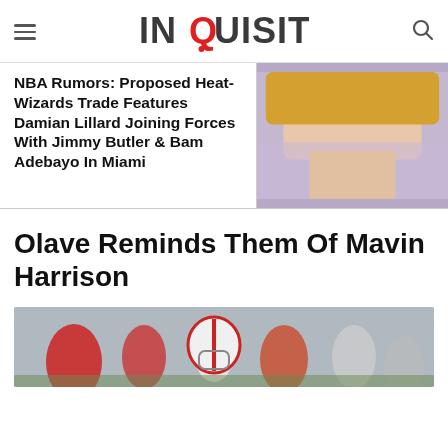INQUISITR
NBA Rumors: Proposed Heat-Wizards Trade Features Damian Lillard Joining Forces With Jimmy Butler & Bam Adebayo In Miami
[Figure (photo): Cropped photo of a blonde woman's face against a light purple background]
Olave Reminds Them Of Mavin Harrison
[Figure (photo): Football players on a field, one wearing a white helmet with red stripes]